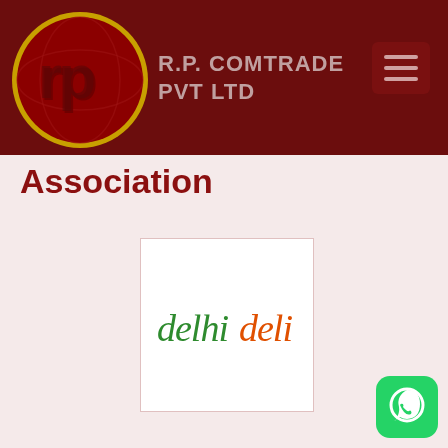[Figure (logo): R.P. Comtrade Pvt Ltd header with circular red logo featuring stylized 'rp' letters on dark red background, company name text, and hamburger menu button]
Association
[Figure (logo): Delhi Deli logo - stylized text with 'delhi' in green and 'deli' in orange on white card background]
[Figure (other): WhatsApp button - green rounded square icon with white phone/chat bubble icon]